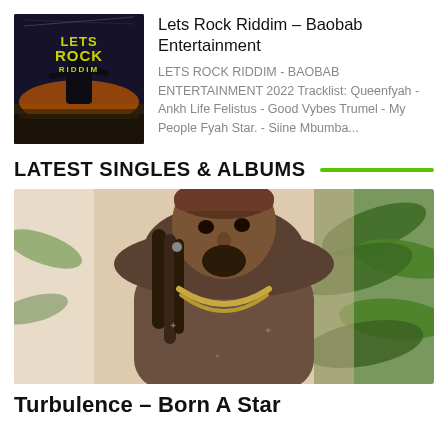[Figure (photo): Album cover for Lets Rock Riddim by Baobab Entertainment, dark background with stylized text]
Lets Rock Riddim – Baobab Entertainment
LETS ROCK RIDDIM - BAOBAB ENTERTAINMENT 2022 Tracklist: Queenfyah - Ankh Life Felistus - Good Vybes Trumel - My People Fyah Star. - Siine Mbumba...
LATEST SINGLES & ALBUMS
[Figure (photo): Photo of reggae artist Turbulence wearing a brown hoodie, headwrap/dreadlocks, and a gold chain necklace, with green plants in background]
Turbulence – Born A Star